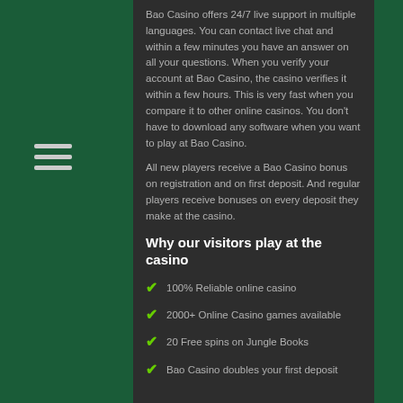Bao Casino offers 24/7 live support in multiple languages. You can contact live chat and within a few minutes you have an answer on all your questions. When you verify your account at Bao Casino, the casino verifies it within a few hours. This is very fast when you compare it to other online casinos. You don't have to download any software when you want to play at Bao Casino.
All new players receive a Bao Casino bonus on registration and on first deposit. And regular players receive bonuses on every deposit they make at the casino.
Why our visitors play at the casino
100% Reliable online casino
2000+ Online Casino games available
20 Free spins on Jungle Books
Bao Casino doubles your first deposit